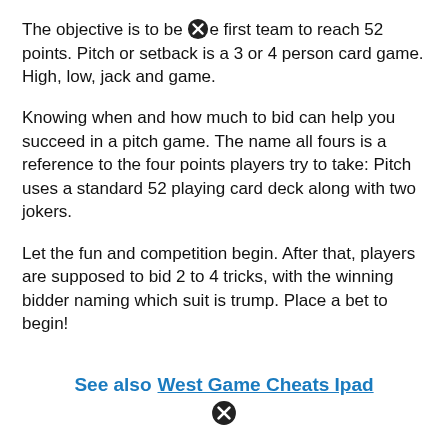The objective is to be the first team to reach 52 points. Pitch or setback is a 3 or 4 person card game. High, low, jack and game.
Knowing when and how much to bid can help you succeed in a pitch game. The name all fours is a reference to the four points players try to take: Pitch uses a standard 52 playing card deck along with two jokers.
Let the fun and competition begin. After that, players are supposed to bid 2 to 4 tricks, with the winning bidder naming which suit is trump. Place a bet to begin!
See also  West Game Cheats Ipad